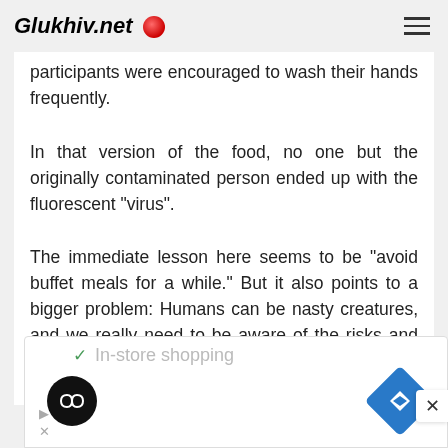Glukhiv.net
participants were encouraged to wash their hands frequently.
In that version of the food, no one but the originally contaminated person ended up with the fluorescent "virus".
The immediate lesson here seems to be "avoid buffet meals for a while." But it also points to a bigger problem: Humans can be nasty creatures, and we really need to be aware of the risks and maintain our personal hygiene. Right now, life depends
[Figure (screenshot): Advertisement banner showing 'In-store shopping' text with checkmark, a black circular icon with infinity-like symbol, and a blue diamond-shaped navigation icon, plus small ad controls.]